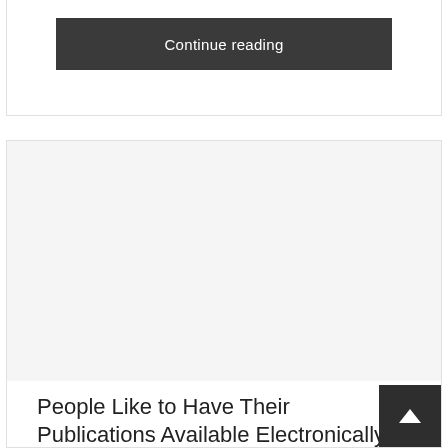Continue reading
[Figure (other): Article image area (blank/white space placeholder)]
People Like to Have Their Publications Available Electronically